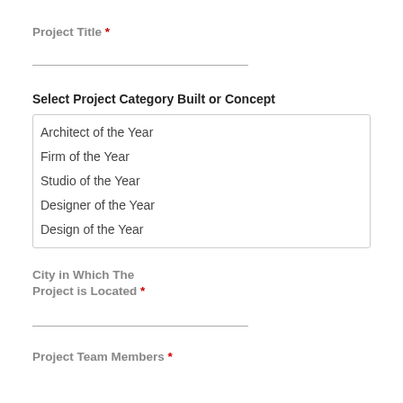Project Title *
Select Project Category Built or Concept
Architect of the Year
Firm of the Year
Studio of the Year
Designer of the Year
Design of the Year
City in Which The Project is Located *
Project Team Members *